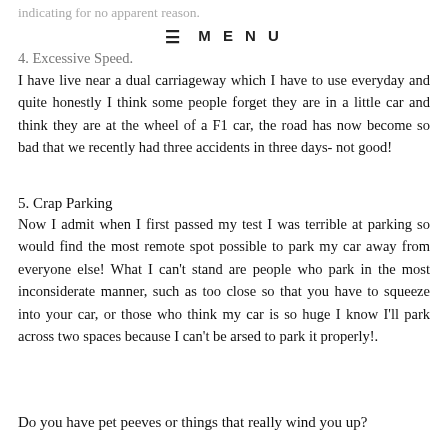indicating for no apparent reason.
≡ MENU
4. Excessive Speed.
I have live near a dual carriageway which I have to use everyday and quite honestly I think some people forget they are in a little car and think they are at the wheel of a F1 car, the road has now become so bad that we recently had three accidents in three days- not good!
5. Crap Parking
Now I admit when I first passed my test I was terrible at parking so would find the most remote spot possible to park my car away from everyone else! What I can't stand are people who park in the most inconsiderate manner, such as too close so that you have to squeeze into your car, or those who think my car is so huge I know I'll park across two spaces because I can't be arsed to park it properly!.
Do you have pet peeves or things that really wind you up?